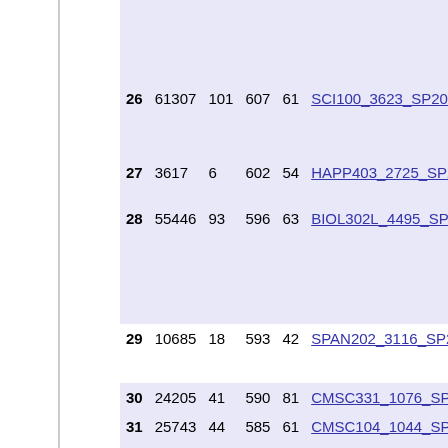| # | ID | Col3 | Col4 | Col5 | Course Code | Description |
| --- | --- | --- | --- | --- | --- | --- |
| 26 | 61307 | 101 | 607 | 61 | SCI100_3623_SP2012 | SCI 10... |
| 27 | 3617 | 6 | 602 | 54 | HAPP403_2725_SP2012 | HAPP... (01.27... |
| 28 | 55446 | 93 | 596 | 63 | BIOL302L_4495_SP2012 | BIOL 3... (01.44... SP201... |
| 29 | 10685 | 18 | 593 | 42 | SPAN202_3116_SP2012 | SPAN... |
| 30 | 24205 | 41 | 590 | 81 | CMSC331_1076_SP2012 | CMSC... |
| 31 | 25743 | 44 | 585 | 61 | CMSC104_1044_SP2012 | CMSC... |
| 32 | 12663 | 22 | 575 | 54 | EDUC388_7018_SP2012 | EDUC... |
| 33 | 17256 | 30 | 575 | 59 | SOWK240_5815_SP2012 | SOWK... |
| 34 | 38005 | 67 | 567 | 53 | PSYC331_2468_SP2012 | PSYC... |